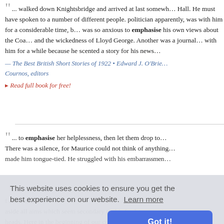" ... walked down Knightsbridge and arrived at last somewhere in Hall. He must have spoken to a number of different people. … politician apparently, was with him for a considerable time, b… was so anxious to emphasise his own views about the Coa… and the wickedness of Lloyd George. Another was a journa… with him for a while because he scented a story for his news…
— The Best British Short Stories of 1922 • Edward J. O'Brie… Cournos, editors
▸ Read full book for free!
" ... to emphasise her helplessness, then let them drop to… There was a silence, for Maurice could not think of anything… made him tongue-tied. He struggled with his embarrassmen…
This website uses cookies to ensure you get the best experience on our website. Learn more
Got it!
f other use… aside all aims which seem secondary to this for later mentio… heads. Here in the beginning of our consideration I wish to…